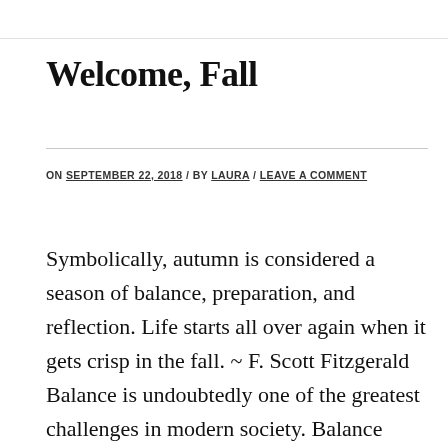Welcome, Fall
ON SEPTEMBER 22, 2018  /  BY LAURA  /  LEAVE A COMMENT
Symbolically, autumn is considered a season of balance, preparation, and reflection. Life starts all over again when it gets crisp in the fall. ~ F. Scott Fitzgerald Balance is undoubtedly one of the greatest challenges in modern society. Balance between work and life, balance between healthy habits and not-so-healthy habits, balance between personal